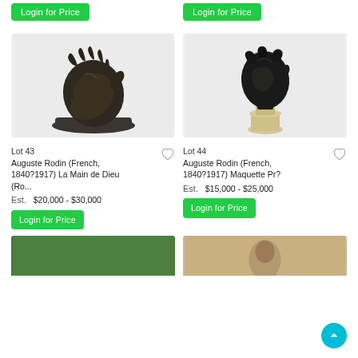Login for Price (top left)
Login for Price (top right)
[Figure (photo): Bronze sculpture of hands, La Main de Dieu by Auguste Rodin, on a dark base, against light gray background]
[Figure (photo): Bronze head bust sculpture Maquette by Auguste Rodin on an alabaster pedestal, against light gray background]
Lot 43
Auguste Rodin (French, 1840?1917) La Main de Dieu (Ro...
Est.   $20,000 - $30,000
Lot 44
Auguste Rodin (French, 1840?1917) Maquette Pr?

Est.   $15,000 - $25,000
Login for Price (lot 43)
Login for Price (lot 44)
[Figure (photo): Partial view of artwork at bottom left, green background visible]
[Figure (photo): Partial view of photograph or artwork at bottom right, sepia toned]